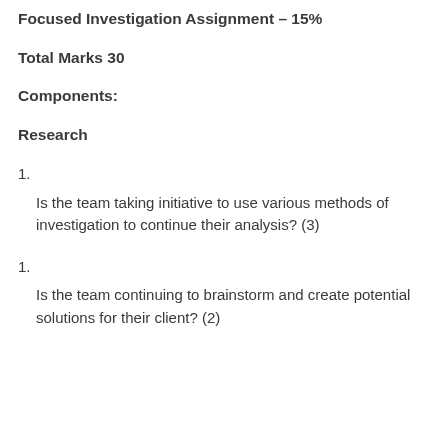Focused Investigation Assignment – 15%
Total Marks 30
Components:
Research
1.

Is the team taking initiative to use various methods of investigation to continue their analysis? (3)
1.

Is the team continuing to brainstorm and create potential solutions for their client? (2)